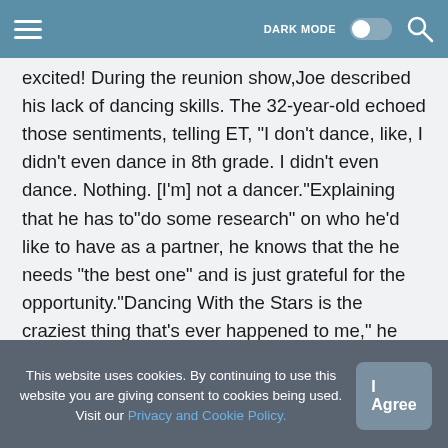DARK MODE [toggle] [search]
excited! During the reunion show,Joe described his lack of dancing skills. The 32-year-old echoed those sentiments, telling ET, "I don't dance, like, I didn't even dance in 8th grade. I didn't even dance. Nothing. [I'm] not a dancer."Explaining that he has to"do some research" on who he'd like to have as a partner, he knows that the he needs "the best one" and is just grateful for the opportunity."Dancing With the Stars is the craziest thing that's ever happened to me," he expressed. "Up to date, right now."
This website uses cookies. By continuing to use this website you are giving consent to cookies being used. Visit our Privacy and Cookie Policy.